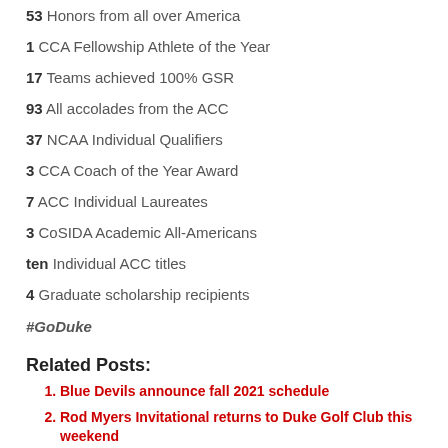53 Honors from all over America
1 CCA Fellowship Athlete of the Year
17 Teams achieved 100% GSR
93 All accolades from the ACC
37 NCAA Individual Qualifiers
3 CCA Coach of the Year Award
7 ACC Individual Laureates
3 CoSIDA Academic All-Americans
ten Individual ACC titles
4 Graduate scholarship recipients
#GoDuke
Related Posts:
Blue Devils announce fall 2021 schedule
Rod Myers Invitational returns to Duke Golf Club this weekend